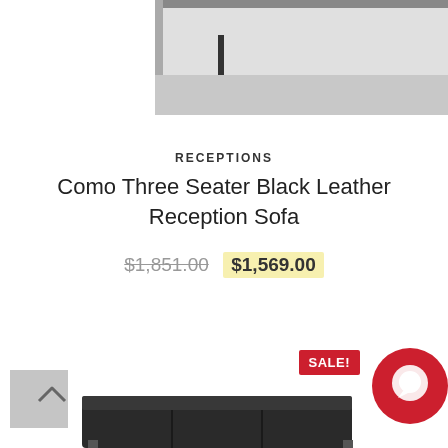[Figure (photo): Partial view of a black leather sofa or furniture piece against a white background, top portion cropped]
RECEPTIONS
Como Three Seater Black Leather Reception Sofa
$1,851.00  $1,569.00
[Figure (photo): Red SALE! badge with chat bubble icon (red circle with white chat icon), scroll-to-top button (grey square with up arrow), and bottom portion of a dark leather reception sofa]